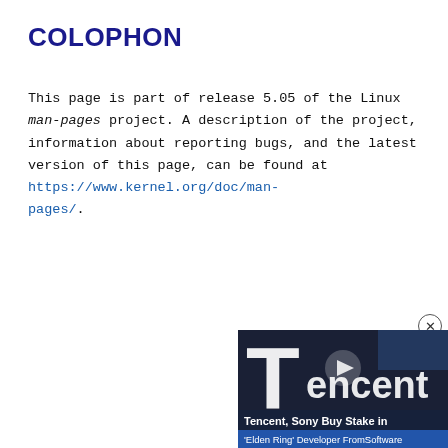COLOPHON
This page is part of release 5.05 of the Linux man-pages project. A description of the project, information about reporting bugs, and the latest version of this page, can be found at https://www.kernel.org/doc/man-pages/.
[Figure (photo): Advertisement showing a Tencent sign at night with a video player overlay. Headline reads 'Tencent, Sony Buy Stake in' with subline ''Elden Ring' Developer FromSoftware'. A close button (circled X) appears at top right of the ad.]